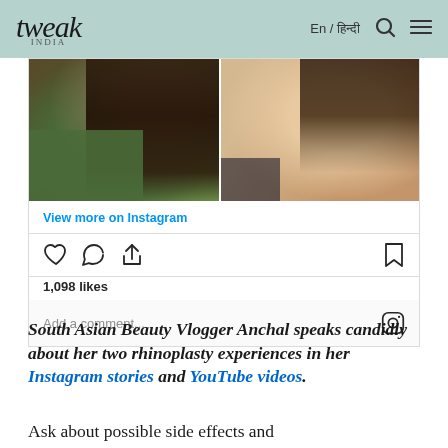tweak india | En / हिन्दी
[Figure (photo): Instagram embed showing before/after rhinoplasty photos split into two panels - left panel shows dark hair and green top, right panel shows skin/neck area with dark hair]
View more on Instagram
1,098 likes
Add a comment...
South Asian Beauty Vlogger Anchal speaks candidly about her two rhinoplasty experiences in her Instagram stories and YouTube videos.
Ask about possible side effects and